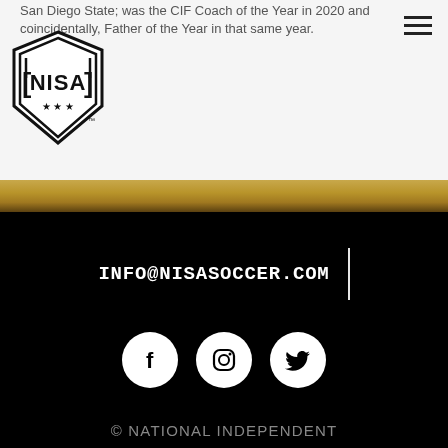San Diego State; was the CIF Coach of the Year in 2020 and coincidentally, Father of the Year in that same year.
[Figure (logo): NISA (National Independent Soccer Association) logo — black hexagonal shield with stars and 'NISA' text]
INFO@NISASOCCER.COM
[Figure (illustration): Three white circular social media icons on black background: Facebook, Instagram, Twitter]
© NATIONAL INDEPENDENT SOCCER ASSOCIATION 2022